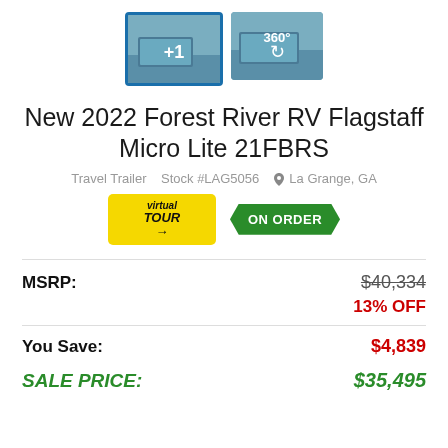[Figure (photo): Two thumbnail images: first selected with blue border showing '+1' label, second showing '360°' label, both appear to be interior RV photos]
New 2022 Forest River RV Flagstaff Micro Lite 21FBRS
Travel Trailer   Stock #LAG5056   La Grange, GA
[Figure (other): Virtual Tour badge (yellow) and ON ORDER badge (green starburst)]
| Label | Value |
| --- | --- |
| MSRP: | $40,334 (strikethrough) |
|  | 13% OFF |
| You Save: | $4,839 |
| SALE PRICE: | $35,495 |